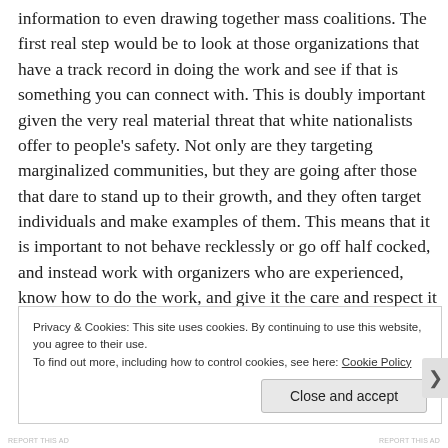information to even drawing together mass coalitions.  The first real step would be to look at those organizations that have a track record in doing the work and see if that is something you can connect with.  This is doubly important given the very real material threat that white nationalists offer to people's safety.   Not only are they targeting marginalized communities, but they are going after those that dare to stand up to their growth, and they often target individuals and make examples of them.  This means that  it is important to not behave recklessly or go off half cocked, and instead work with organizers who are experienced, know how to do the work, and give it the care and respect it deserves.
Privacy & Cookies: This site uses cookies. By continuing to use this website, you agree to their use.
To find out more, including how to control cookies, see here: Cookie Policy
Close and accept
REPORT THIS AD   REPORT THIS AD